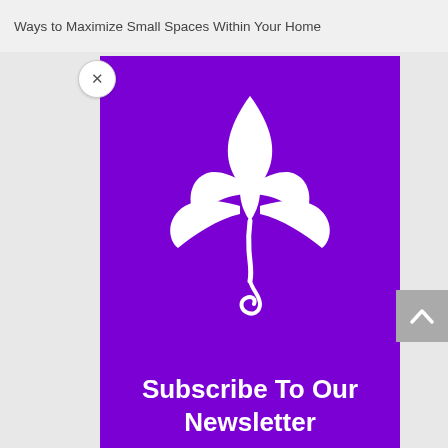Ways to Maximize Small Spaces Within Your Home
[Figure (illustration): White decorative plant/leaf illustration on a purple background, with ornate leaf clusters and a curling stem.]
Subscribe To Our Newsletter